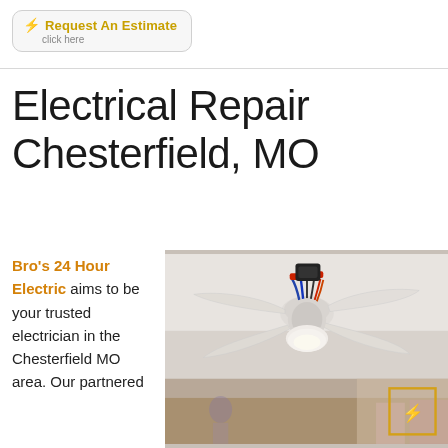Request An Estimate click here
Electrical Repair Chesterfield, MO
Bro's 24 Hour Electric aims to be your trusted electrician in the Chesterfield MO area. Our partnered
[Figure (photo): Ceiling fan being installed or repaired, showing wiring at the ceiling mount, with fan blades and a decorative light kit. A golden lightning bolt icon overlay is visible in the lower right corner.]